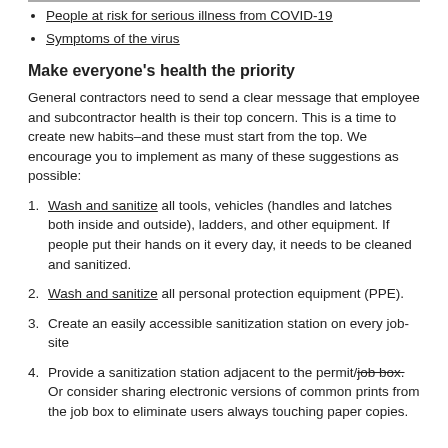People at risk for serious illness from COVID-19
Symptoms of the virus
Make everyone's health the priority
General contractors need to send a clear message that employee and subcontractor health is their top concern. This is a time to create new habits–and these must start from the top. We encourage you to implement as many of these suggestions as possible:
Wash and sanitize all tools, vehicles (handles and latches both inside and outside), ladders, and other equipment. If people put their hands on it every day, it needs to be cleaned and sanitized.
Wash and sanitize all personal protection equipment (PPE).
Create an easily accessible sanitization station on every job-site
Provide a sanitization station adjacent to the permit/job box. Or consider sharing electronic versions of common prints from the job box to eliminate users always touching paper copies.